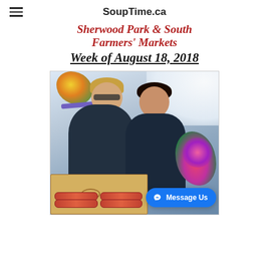SoupTime.ca
Sherwood Park & South Farmers' Markets Week of August 18, 2018
[Figure (photo): Two women smiling at a farmers' market booth with flowers, a wooden crate of products, and a bright outdoor background. A Facebook Messenger 'Message Us' button is overlaid on the bottom right.]